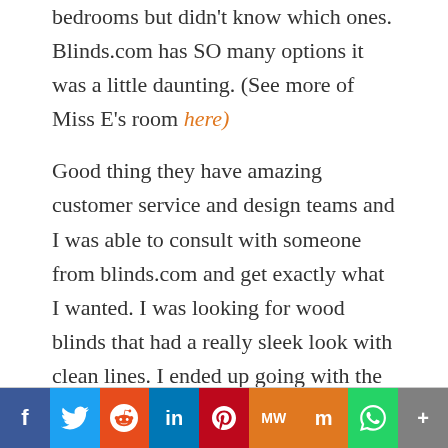bedrooms but didn't know which ones. Blinds.com has SO many options it was a little daunting. (See more of Miss E's room here)

Good thing they have amazing customer service and design teams and I was able to consult with someone from blinds.com and get exactly what I wanted. I was looking for wood blinds that had a really sleek look with clean lines. I ended up going with the 2 3/4" Architectural Wood Blinds . The slats are a little thicker than normal giving them a more modern look.